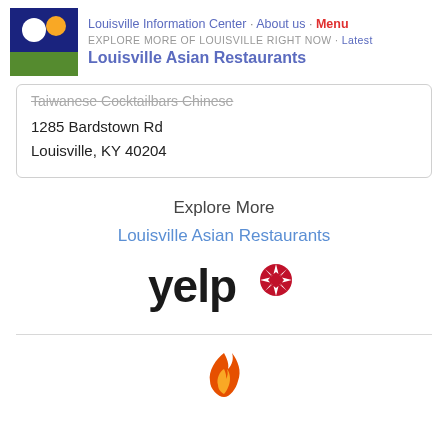Louisville Information Center · About us · Menu
EXPLORE MORE OF LOUISVILLE RIGHT NOW · Latest
Louisville Asian Restaurants
Taiwanese Cocktailbars Chinese
1285 Bardstown Rd
Louisville, KY 40204
Explore More
Louisville Asian Restaurants
[Figure (logo): Yelp logo with red starburst]
[Figure (illustration): Orange flame icon]